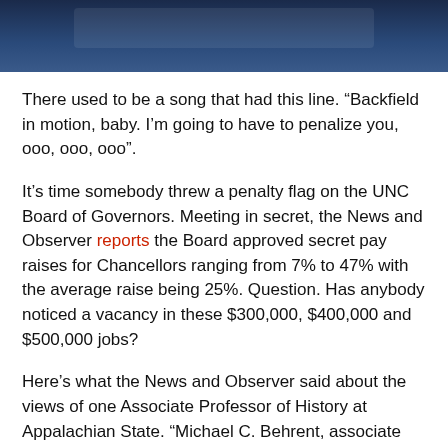[Figure (photo): Dark blue header banner image with what appears to be a building or architectural element in the background]
There used to be a song that had this line. “Backfield in motion, baby. I’m going to have to penalize you, ooo, ooo, ooo”.
It’s time somebody threw a penalty flag on the UNC Board of Governors. Meeting in secret, the News and Observer reports the Board approved secret pay raises for Chancellors ranging from 7% to 47% with the average raise being 25%. Question. Has anybody noticed a vacancy in these $300,000, $400,000 and $500,000 jobs?
Here’s what the News and Observer said about the views of one Associate Professor of History at Appalachian State. “Michael C. Behrent, associate professor of history at Appalachian State University, said faculty haven’t seen